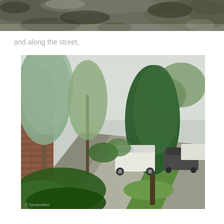[Figure (photo): Top portion of a photo showing a rocky or mossy surface, cropped at the top of the page]
and along the street,
[Figure (photo): Street scene with trees lining a footpath, brick wall on the left, parked cars on the right, green grass strips and garden plants visible]